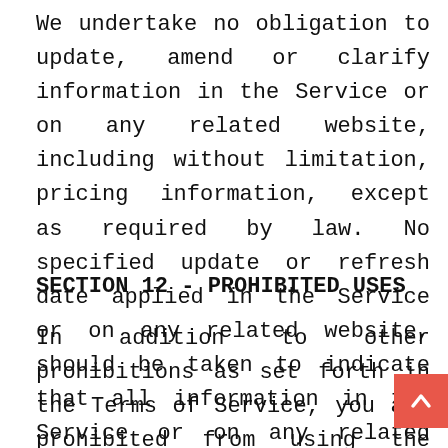We undertake no obligation to update, amend or clarify information in the Service or on any related website, including without limitation, pricing information, except as required by law. No specified update or refresh date applied in the Service or on any related website, should be taken to indicate that all information in the Service or on any related website has been modified or updated.
SECTION 12 - PROHIBITED USES
In addition to other prohibitions as set forth in the Terms of Service, you are prohibited from using the site or its content: (a) for any unlawful purpose; (b) to solicit others to